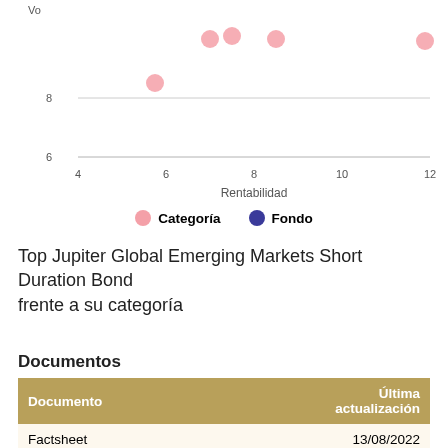[Figure (scatter-plot): Scatter plot showing category (pink dots) and fund (blue dot) points on rentabilidad vs volatilidad axes. Pink dots near (7,10), (7.5,10), (8.5,10), (12,10), (6,8). Y-axis shows 6 and 8 labels, X-axis shows 4,6,8,10,12.]
Categoría   Fondo
Top Jupiter Global Emerging Markets Short Duration Bond frente a su categoría
Documentos
| Documento | Última actualización |
| --- | --- |
| Factsheet | 13/08/2022 |
| Prospecto |  |